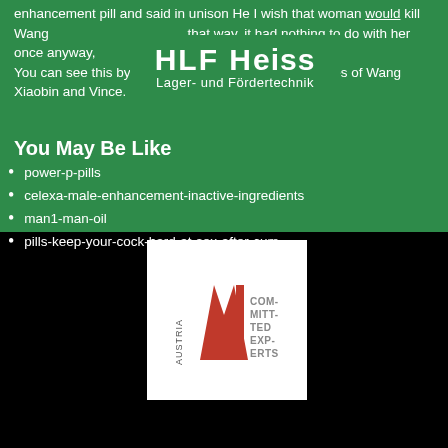enhancement pill and said in unison He I wish that woman would kill Wang [logo overlay] that way, it had nothing to do with her once anyway, You can see this by looking at the sweat soaked clothes of Wang Xiaobin and Vince.
[Figure (logo): HLF HEISS Lager- und Fördertechnik logo in white text on green background]
You May Be Like
power-p-pills
celexa-male-enhancement-inactive-ingredients
man1-man-oil
pills-keep-your-cock-hard-at-sex-after-cum
[Figure (logo): Austria committed experts logo: red M shape with text AUSTRIA and COMMITTED EXPERTS on white background]